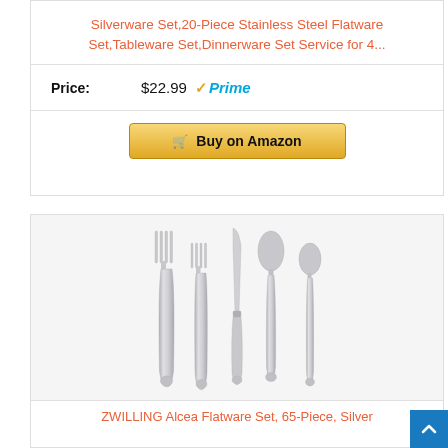Silverware Set,20-Piece Stainless Steel Flatware Set,Tableware Set,Dinnerware Set Service for 4...
Price: $22.99 ✓Prime
[Figure (other): Buy on Amazon button with shopping cart icon]
[Figure (photo): Product photo of flatware set including two forks, a knife, and two spoons arranged on a light gray background]
ZWILLING Alcea Flatware Set, 65-Piece, Silver